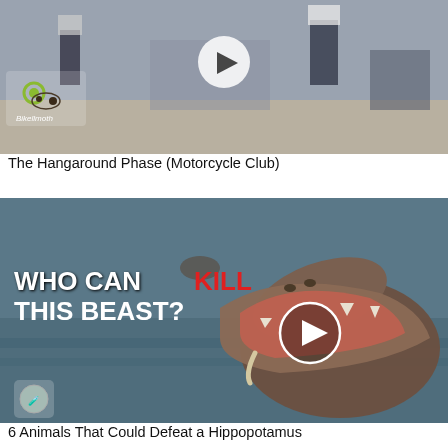[Figure (photo): Motorcycle club video thumbnail showing people walking, with a play button overlay and BikeBmoth logo in the lower left.]
The Hangaround Phase (Motorcycle Club)
[Figure (photo): Hippo with wide open mouth in water. Text overlay reads 'WHO CAN KILL THIS BEAST?' with KILL in red. Play button overlay visible.]
6 Animals That Could Defeat a Hippopotamus